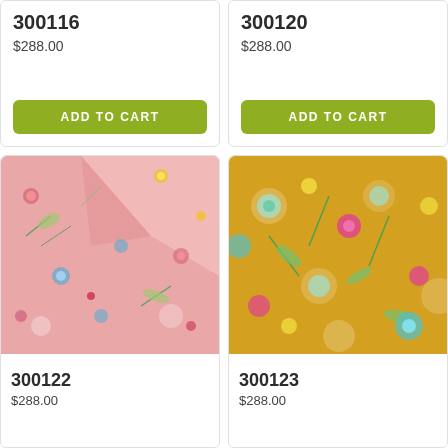300116
$288.00
ADD TO CART
300120
$288.00
ADD TO CART
[Figure (photo): Pink floral wallpaper roll with botanical flower pattern on pink background]
300122
$288.00
[Figure (photo): Yellow/gold floral wallpaper with colorful botanical flowers on mustard yellow background]
300123
$288.00